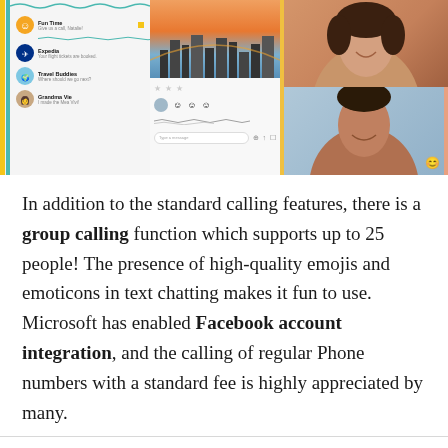[Figure (screenshot): Three-panel screenshot of a messaging app (likely Skype): left panel shows chat list with contacts (Fun Time, Expedia, Travel Buddies, Grandma Vie), middle panel shows a conversation with emoji reactions, right panel shows a video call with two people smiling. Colorful accent bars on the sides.]
In addition to the standard calling features, there is a group calling function which supports up to 25 people! The presence of high-quality emojis and emoticons in text chatting makes it fun to use. Microsoft has enabled Facebook account integration, and the calling of regular Phone numbers with a standard fee is highly appreciated by many.
However, due to the uncompromised